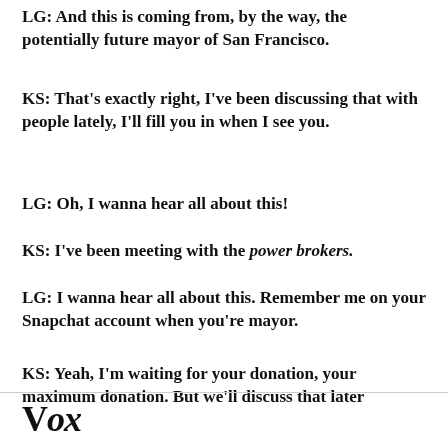LG: And this is coming from, by the way, the potentially future mayor of San Francisco.
KS: That's exactly right, I've been discussing that with people lately, I'll fill you in when I see you.
LG: Oh, I wanna hear all about this!
KS: I've been meeting with the power brokers.
LG: I wanna hear all about this. Remember me on your Snapchat account when you're mayor.
KS: Yeah, I'm waiting for your donation, your maximum donation. But we'll discuss that later [...]
Vox